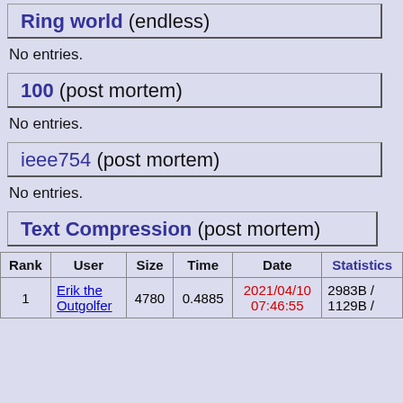Ring world (endless)
No entries.
100 (post mortem)
No entries.
ieee754 (post mortem)
No entries.
Text Compression (post mortem)
| Rank | User | Size | Time | Date | Statistics |
| --- | --- | --- | --- | --- | --- |
| 1 | Erik the Outgolfer | 4780 | 0.4885 | 2021/04/10 07:46:55 | 2983B / 1129B / |